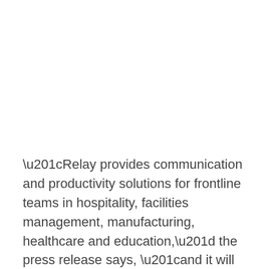“Relay provides communication and productivity solutions for frontline teams in hospitality, facilities management, manufacturing, healthcare and education,” the press release says, “and it will become a wholesale customer on Dish’s 5G network.”